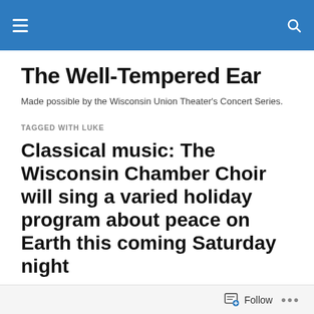The Well-Tempered Ear [navigation header with hamburger menu and search icon]
The Well-Tempered Ear
Made possible by the Wisconsin Union Theater's Concert Series.
TAGGED WITH LUKE
Classical music: The Wisconsin Chamber Choir will sing a varied holiday program about peace on Earth this coming Saturday night